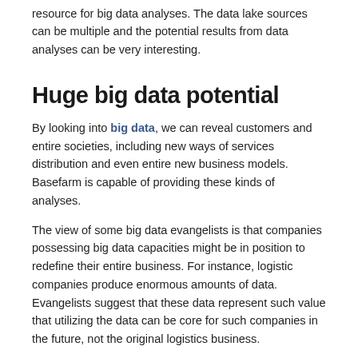resource for big data analyses. The data lake sources can be multiple and the potential results from data analyses can be very interesting.
Huge big data potential
By looking into big data, we can reveal customers and entire societies, including new ways of services distribution and even entire new business models. Basefarm is capable of providing these kinds of analyses.
The view of some big data evangelists is that companies possessing big data capacities might be in position to redefine their entire business. For instance, logistic companies produce enormous amounts of data. Evangelists suggest that these data represent such value that utilizing the data can be core for such companies in the future, not the original logistics business.